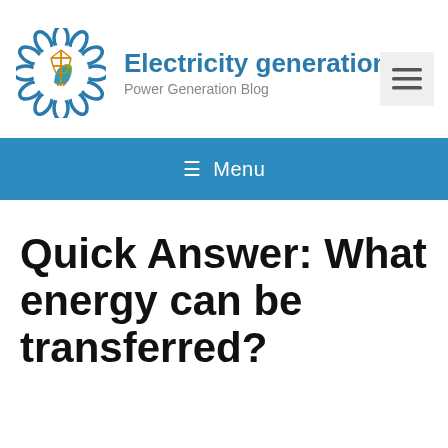[Figure (logo): Electricity generation blog logo — a circular flower-petal border in blue, with an electric transmission tower in orange/gold and a water/energy swirl in blue and green in the center.]
Electricity generation
Power Generation Blog
[Figure (other): Hamburger menu button (three horizontal lines) on a light grey square background]
≡ Menu
Quick Answer: What energy can be transferred?